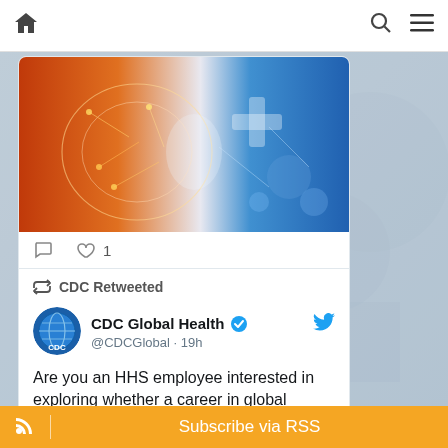Home | Search | Menu
[Figure (screenshot): CDC website screenshot showing a tweet card with a medical brain/health imagery banner, tweet actions (comment, like:1), a retweet from CDC Global Health @CDCGlobal 19h ago, and text: Are you an HHS employee interested in exploring whether a career in global]
Subscribe via RSS